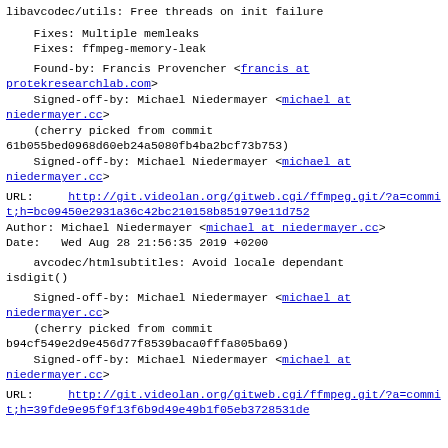libavcodec/utils: Free threads on init failure
Fixes: Multiple memleaks
    Fixes: ffmpeg-memory-leak
Found-by: Francis Provencher <francis at protekresearchlab.com>
    Signed-off-by: Michael Niedermayer <michael at niedermayer.cc>
    (cherry picked from commit
    61b055bed0968d60eb24a5080fb4ba2bcf73b753)
    Signed-off-by: Michael Niedermayer <michael at niedermayer.cc>
URL:     http://git.videolan.org/gitweb.cgi/ffmpeg.git/?a=commit;h=bc09450e2931a36c42bc210158b851979e11d752
Author: Michael Niedermayer <michael at niedermayer.cc>
Date:   Wed Aug 28 21:56:35 2019 +0200
avcodec/htmlsubtitles: Avoid locale dependant
    isdigit()
Signed-off-by: Michael Niedermayer <michael at niedermayer.cc>
    (cherry picked from commit
    b94cf549e2d9e456d77f8539baca0fffa805ba69)
    Signed-off-by: Michael Niedermayer <michael at niedermayer.cc>
URL:     http://git.videolan.org/gitweb.cgi/ffmpeg.git/?a=commit;h=39fde9e95f9f13f6b9d49e49b1f05eb3728531de